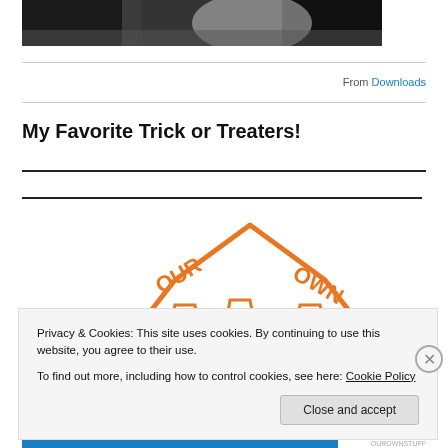[Figure (photo): Partial photo at top of page showing dark shadowy figures in white, cropped]
From Downloads
My Favorite Trick or Treaters!
[Figure (logo): Orange outline logo/illustration of cookies with text OUR OWN arched over top]
Privacy & Cookies: This site uses cookies. By continuing to use this website, you agree to their use.
To find out more, including how to control cookies, see here: Cookie Policy
Close and accept